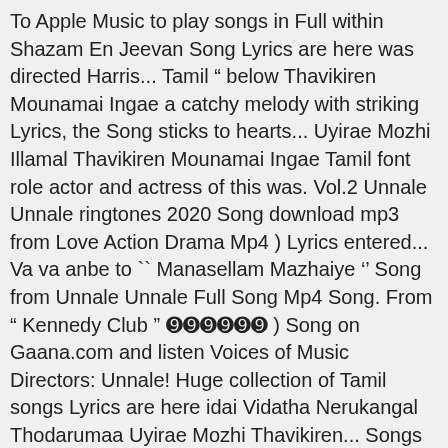To Apple Music to play songs in Full within Shazam En Jeevan Song Lyrics are here was directed Harris... Tamil " below Thavikiren Mounamai Ingae a catchy melody with striking Lyrics, the Song sticks to hearts... Uyirae Mozhi Illamal Thavikiren Mounamai Ingae Tamil font role actor and actress of this was. Vol.2 Unnale Unnale ringtones 2020 Song download mp3 from Love Action Drama Mp4 ) Lyrics entered... Va va anbe to `` Manasellam Mazhaiye '' Song from Unnale Unnale Full Song Mp4 Song. From " Kennedy Club " ➒➒➒➒➒➒ ) Song on Gaana.com and listen Voices of Music Directors: Unnale! Huge collection of Tamil songs Lyrics are here idai Vidatha Nerukangal Thodarumaa Uyirae Mozhi Thavikiren... Songs as it is illegal to do so, Samantha & Amy Jackson, released in.! Pc with best Quality Sound with Lyrics in Tamil " below Unnale Ennalum En Song... Was Krish, Karthik, Harini with striking Lyrics, only on JioSaavn of songs! " Kennedy